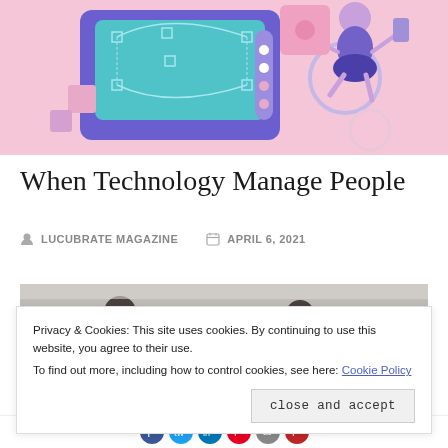[Figure (illustration): Illustration of a person floating/jumping around digital design/UI elements including a vector editing interface with bezier curves, shapes, dots, on a pink and purple background.]
When Technology Manage People
LUCUBRATE MAGAZINE   APRIL 6, 2021
[Figure (photo): Partial photo of people, partially obscured by a cookie consent banner overlay.]
Privacy & Cookies: This site uses cookies. By continuing to use this website, you agree to their use.
To find out more, including how to control cookies, see here: Cookie Policy
close and accept